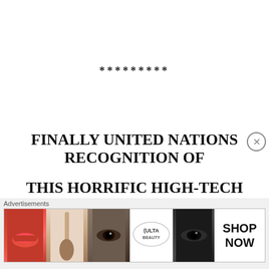*********
FINALLY UNITED NATIONS RECOGNITION OF THIS HORRIFIC HIGH-TECH TARGETING PROGRAM
[Figure (other): Advertisement banner with beauty/makeup images including lips, makeup brush, eye, Ulta Beauty logo, dark eye makeup, and 'SHOP NOW' text]
Advertisements